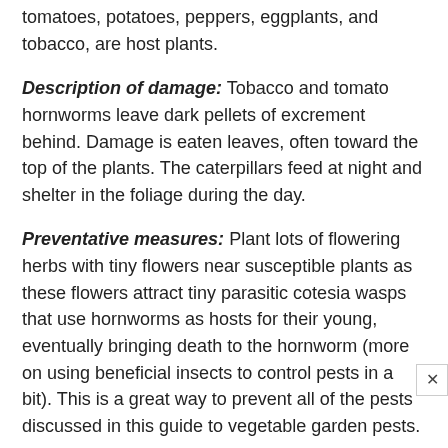tomatoes, potatoes, peppers, eggplants, and tobacco, are host plants.
Description of damage: Tobacco and tomato hornworms leave dark pellets of excrement behind. Damage is eaten leaves, often toward the top of the plants. The caterpillars feed at night and shelter in the foliage during the day.
Preventative measures: Plant lots of flowering herbs with tiny flowers near susceptible plants as these flowers attract tiny parasitic cotesia wasps that use hornworms as hosts for their young, eventually bringing death to the hornworm (more on using beneficial insects to control pests in a bit). This is a great way to prevent all of the pests discussed in this guide to vegetable garden pests.
Physical controls: Inspect plants for hornworms on a